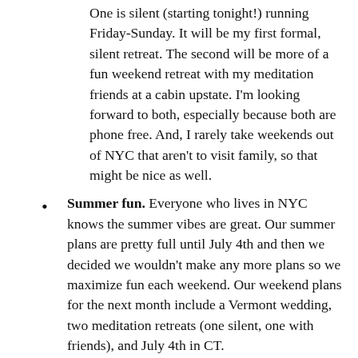One is silent (starting tonight!) running Friday-Sunday. It will be my first formal, silent retreat. The second will be more of a fun weekend retreat with my meditation friends at a cabin upstate. I'm looking forward to both, especially because both are phone free. And, I rarely take weekends out of NYC that aren't to visit family, so that might be nice as well.
Summer fun. Everyone who lives in NYC knows the summer vibes are great. Our summer plans are pretty full until July 4th and then we decided we wouldn't make any more plans so we maximize fun each weekend. Our weekend plans for the next month include a Vermont wedding, two meditation retreats (one silent, one with friends), and July 4th in CT.
Being accepting of where I am. This is linked to self-compassion, but I want to continue to be gentle with myself and aware of how I am doing and what I need. The concept of nurturing comes to mind — just treating myself with a loving friendliness.